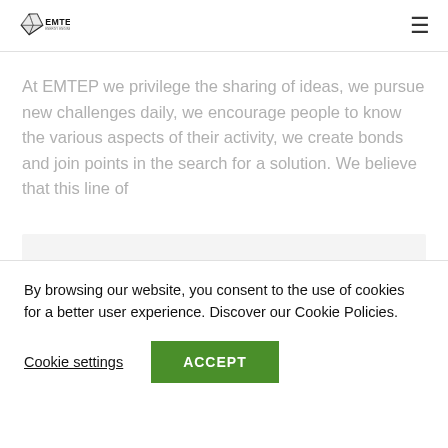EMTEP - Energy Engineering Projects
At EMTEP we privilege the sharing of ideas, we pursue new challenges daily, we encourage people to know the various aspects of their activity, we create bonds and join points in the search for a solution. We believe that this line of
REFERENCE - RH_ENG.20.03
By browsing our website, you consent to the use of cookies for a better user experience. Discover our Cookie Policies.
Cookie settings
ACCEPT